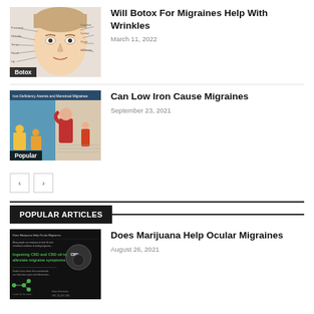[Figure (photo): Medical illustration of a woman's face with Botox injection points labeled]
Will Botox For Migraines Help With Wrinkles
March 11, 2022
[Figure (illustration): Infographic about iron deficiency anemia and menstrual migraines showing animated people]
Can Low Iron Cause Migraines
September 23, 2021
POPULAR ARTICLES
[Figure (infographic): Dark infographic about ingesting CBD and CBD oil to alleviate migraine symptoms]
Does Marijuana Help Ocular Migraines
August 26, 2021